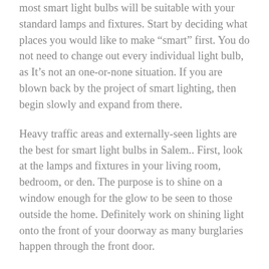most smart light bulbs will be suitable with your standard lamps and fixtures. Start by deciding what places you would like to make “smart” first. You do not need to change out every individual light bulb, as It’s not an one-or-none situation. If you are blown back by the project of smart lighting, then begin slowly and expand from there.
Heavy traffic areas and externally-seen lights are the best for smart light bulbs in Salem.. First, look at the lamps and fixtures in your living room, bedroom, or den. The purpose is to shine on a window enough for the glow to be seen to those outside the home. Definitely work on shining light onto the front of your doorway as many burglaries happen through the front door.
As for the sides of your residence, swap to smart